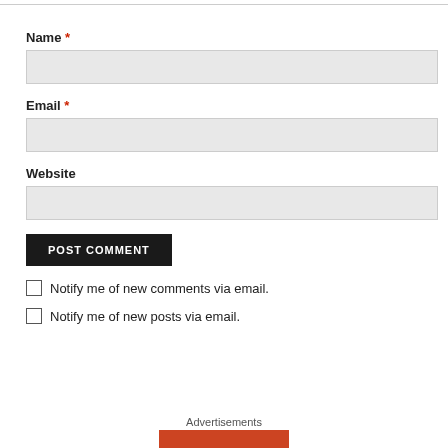Name *
[Figure (other): Text input field for Name]
Email *
[Figure (other): Text input field for Email]
Website
[Figure (other): Text input field for Website]
[Figure (other): POST COMMENT button (dark background, white uppercase text)]
Notify me of new comments via email.
Notify me of new posts via email.
Advertisements